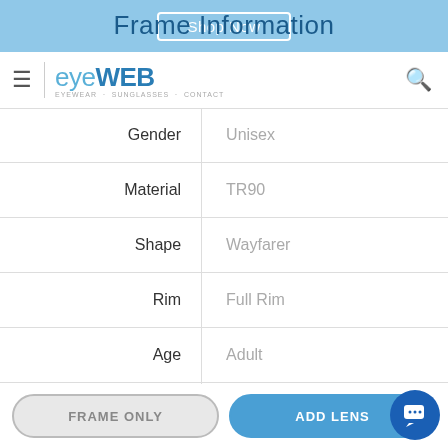Shop Now
eyeWEB
Frame Information
|  |  |
| --- | --- |
| Gender | Unisex |
| Material | TR90 |
| Shape | Wayfarer |
| Rim | Full Rim |
| Age | Adult |
| Collections | Prato Collection |
FRAME ONLY
ADD LENS